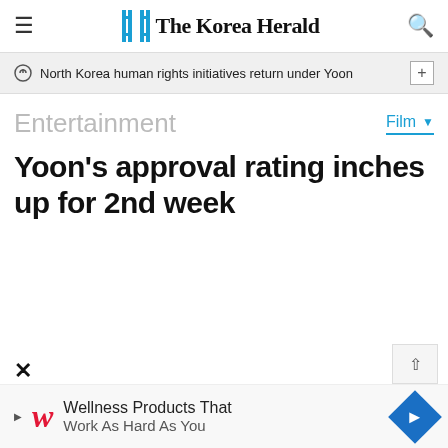The Korea Herald
North Korea human rights initiatives return under Yoon
Entertainment
Film
Yoon's approval rating inches up for 2nd week
Wellness Products That Work As Hard As You